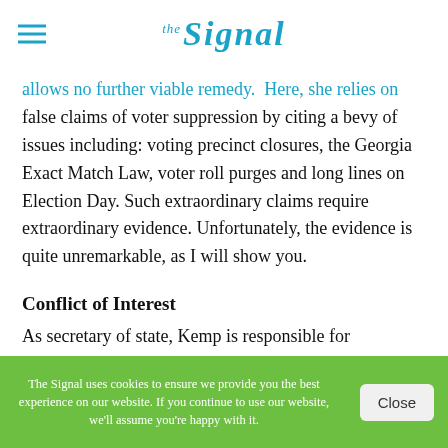the Signal
allows no further viable remedy. Here, she relies on false claims of voter suppression by citing a bevy of issues including: voting precinct closures, the Georgia Exact Match Law, voter roll purges and long lines on Election Day. Such extraordinary claims require extraordinary evidence. Unfortunately, the evidence is quite unremarkable, as I will show you.
Conflict of Interest
As secretary of state, Kemp is responsible for overseeing elections, which is an obvious conflict of interest. Kemp should have immediately removed himself from that aspect of his job once he began his campaign. Despite that, it is apparent that Brian Kemp
The Signal uses cookies to ensure we provide you the best experience on our website. If you continue to use our website, we'll assume you're happy with it.